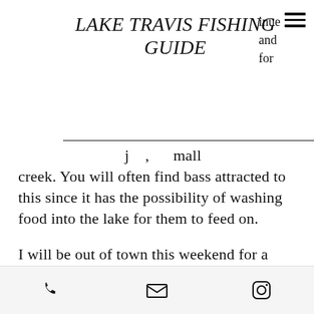LAKE TRAVIS FISHING GUIDE
...g , mall creek. You will often find bass attracted to this since it has the possibility of washing food into the lake for them to feed on.
I will be out of town this weekend for a wedding, but the lake is currently closed to ALL boat traffic for the time being... perfect time to leave. haha But I expect by next week the lake should be back to normal and the flood waters receding. If you are looking for
Phone | Email | Instagram